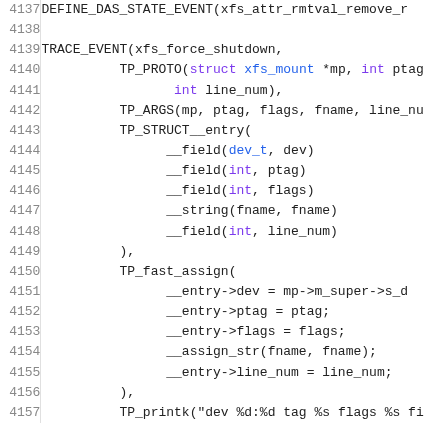[Figure (screenshot): Source code listing showing lines 4137-4157 of a Linux kernel XFS trace event definition in C macro syntax, with syntax highlighting: purple for type keywords, blue for identifiers/types, green for field/function names, and black for other tokens.]